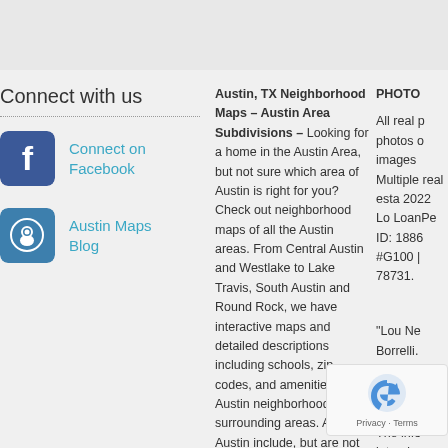Connect with us
Connect on Facebook
Austin Maps Blog
Austin, TX Neighborhood Maps – Austin Area Subdivisions – Looking for a home in the Austin Area, but not sure which area of Austin is right for you? Check out neighborhood maps of all the Austin areas. From Central Austin and Westlake to Lake Travis, South Austin and Round Rock, we have interactive maps and detailed descriptions including schools, zip codes, and amenities for all Austin neighborhoods and surrounding areas. Areas of Austin include, but are not limited to: Austin, Central Austin, Downtown, Northwest Austin, South Austin, Round Rock, Georgetown, Leander, Cedar Park, Hutto and much more!
PRICING INFORMATION
The information provided in this publication is deemed to be reliable and
PHOTO
All real p photos o images Multiple real esta 2022 Lo LoanPe ID: 1886 #G100 | 78731.
"Lou Ne Borrelli.
ACCUR
The info intende without